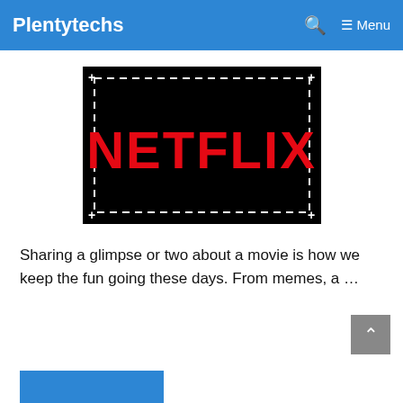Plentytechs  Menu
[Figure (logo): Netflix logo in bold red text on black background with dashed white border and corner plus signs]
Sharing a glimpse or two about a movie is how we keep the fun going these days. From memes, a ...